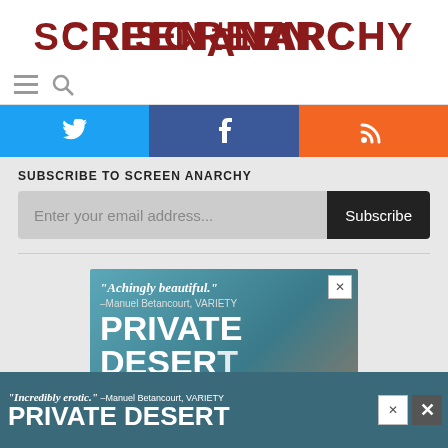SCREENANARCHY
[Figure (screenshot): Navigation bar with hamburger menu icon and search icon]
[Figure (infographic): Social media buttons: Twitter (blue), Facebook (dark blue), RSS (orange)]
SUBSCRIBE TO SCREEN ANARCHY
[Figure (screenshot): Email subscription form with input field and Subscribe button]
[Figure (infographic): Advertisement for 'Private Desert' film with quote 'Achingly beautiful.' -Manuel Betancourt, VARIETY]
[Figure (infographic): Bottom banner ad for 'Private Desert' film with quote 'Incredibly erotic.' -Manuel Betancourt, VARIETY]